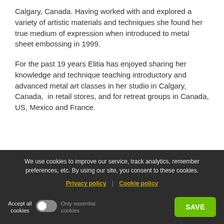Calgary, Canada. Having worked with and explored a variety of artistic materials and techniques she found her true medium of expression when introduced to metal sheet embossing in 1999.
For the past 19 years Elitia has enjoyed sharing her knowledge and technique teaching introductory and advanced metal art classes in her studio in Calgary, Canada,  in retail stores, and for retreat groups in Canada, US, Mexico and France.
[Figure (photo): Partial view of decorative metal embossing artwork with intricate dark gold and black patterns]
We use cookies to improve our service, track analytics, remember preferences, etc. By using our site, you consent to these cookies.
Privacy policy | Cookie policy
Accept all cookies | Only essential cookies | SAVE